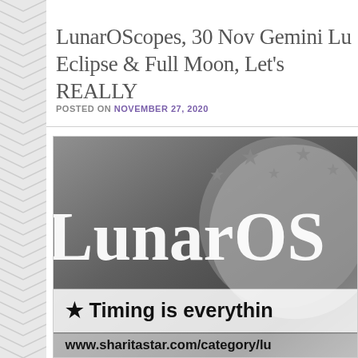LunarOScopes, 30 Nov Gemini Lu Eclipse & Full Moon, Let's REALLY
POSTED ON NOVEMBER 27, 2020
[Figure (illustration): LunarOScopes promotional banner image in grayscale showing the text 'LunarOScopes' in large white serif font over a dark background with stars and a moon. Below reads '★ Timing is everything' and 'www.sharitastar.com/category/lu']